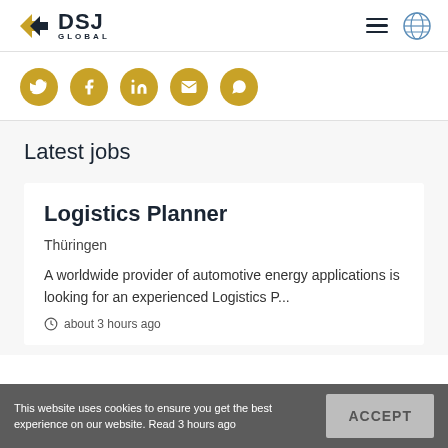[Figure (logo): DSJ Global logo with arrow icon and globe icon and hamburger menu]
[Figure (infographic): Row of 5 golden circular social media icons: Twitter, Facebook, LinkedIn, Email, WhatsApp]
Latest jobs
Logistics Planner
Thüringen
A worldwide provider of automotive energy applications is looking for an experienced Logistics P...
about 3 hours ago
This website uses cookies to ensure you get the best experience on our website. Read 3 hours ago